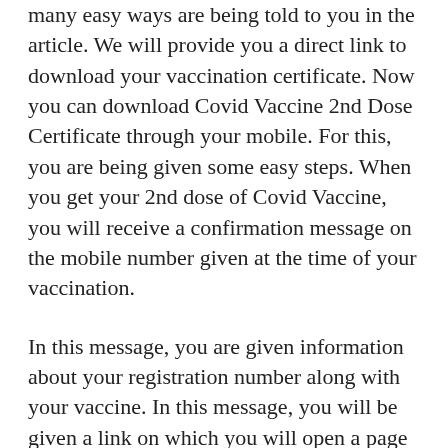many easy ways are being told to you in the article. We will provide you a direct link to download your vaccination certificate. Now you can download Covid Vaccine 2nd Dose Certificate through your mobile. For this, you are being given some easy steps. When you get your 2nd dose of Covid Vaccine, you will receive a confirmation message on the mobile number given at the time of your vaccination.
In this message, you are given information about your registration number along with your vaccine. In this message, you will be given a link on which you will open a page on your mobile number. On this page, you have to enter your mobile number and click on get OTP, and login. On login, a PDF of the Covid Vaccine 2nd Dose Certificate will be given to your mobile. For other